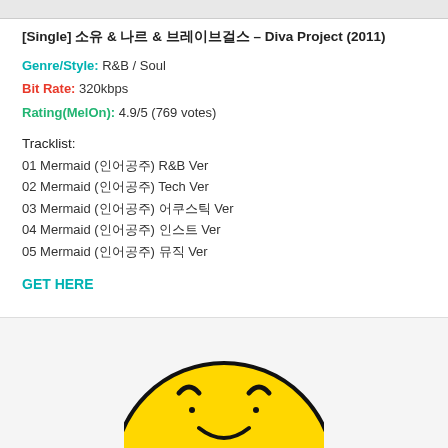[Single] 소유 & 나르 & 브레이브걸스 – Diva Project (2011)
Genre/Style: R&B / Soul
Bit Rate: 320kbps
Rating(MelOn): 4.9/5 (769 votes)
Tracklist:
01 Mermaid (인어공주) R&B Ver
02 Mermaid (인어공주) Tech Ver
03 Mermaid (인어공주) 어쿠스틱 Ver
04 Mermaid (인어공주) 인스트 Ver
05 Mermaid (인어공주) 뮤직 Ver
GET HERE
[Figure (illustration): Yellow smiley face emoji with closed eyes, partially visible at bottom of page]